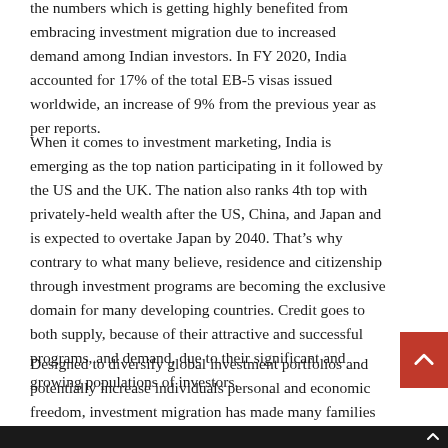the numbers which is getting highly benefited from embracing investment migration due to increased demand among Indian investors. In FY 2020, India accounted for 17% of the total EB-5 visas issued worldwide, an increase of 9% from the previous year as per reports.
When it comes to investment marketing, India is emerging as the top nation participating in it followed by the US and the UK. The nation also ranks 4th top with privately-held wealth after the US, China, and Japan and is expected to overtake Japan by 2040. That's why contrary to what many believe, residence and citizenship through investment programs are becoming the exclusive domain for many developing countries. Credit goes to both supply, because of their attractive and successful programs, and demand, due to their significant and growing populations of investors.
Designed to diversify global investment portfolios and potentially increase individuals personal and economic freedom, investment migration has made many families rethink their future situations. Investment migration is a